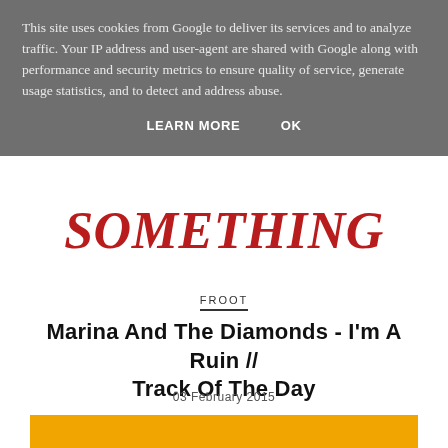This site uses cookies from Google to deliver its services and to analyze traffic. Your IP address and user-agent are shared with Google along with performance and security metrics to ensure quality of service, generate usage statistics, and to detect and address abuse.
LEARN MORE   OK
[Figure (illustration): Partial view of the word SOMETHING in bold red stylized letters on white background]
FROOT
Marina And The Diamonds - I'm A Ruin // Track Of The Day
03 February 2015
[Figure (photo): Album art for Marina and the Diamonds I'm A Ruin single - orange background with large red block letters 'I'M A RUIN' and a woman's head with dark hair visible below]